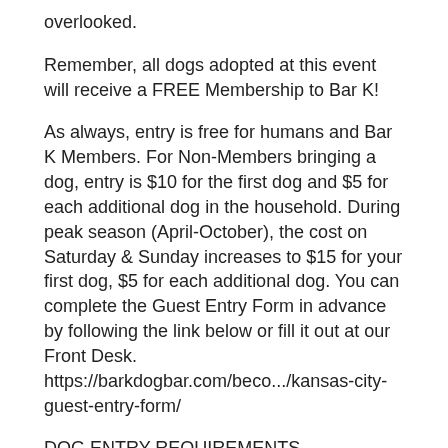overlooked.
Remember, all dogs adopted at this event will receive a FREE Membership to Bar K!
As always, entry is free for humans and Bar K Members. For Non-Members bringing a dog, entry is $10 for the first dog and $5 for each additional dog in the household. During peak season (April-October), the cost on Saturday & Sunday increases to $15 for your first dog, $5 for each additional dog. You can complete the Guest Entry Form in advance by following the link below or fill it out at our Front Desk.
https://barkdogbar.com/beco.../kansas-city-guest-entry-form/
DOG ENTRY REQUIREMENTS
• Must be current on vaccinations (Rabies, DHLPP/Da2PP and Bordetella)